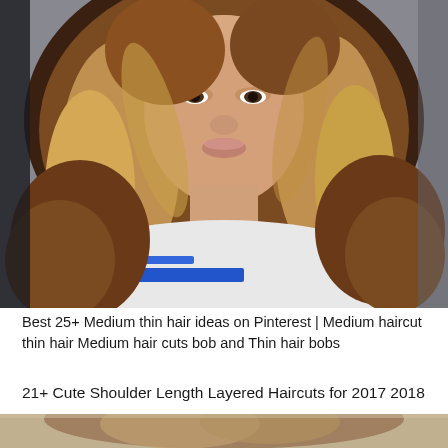[Figure (photo): Woman with medium-length brown layered hair wearing a white top with blue stripe, smiling, close-up portrait photo]
Best 25+ Medium thin hair ideas on Pinterest | Medium haircut thin hair Medium hair cuts bob and Thin hair bobs
21+ Cute Shoulder Length Layered Haircuts for 2017 2018
[Figure (photo): Partial view of another hairstyle photo at the bottom of the page, cropped]